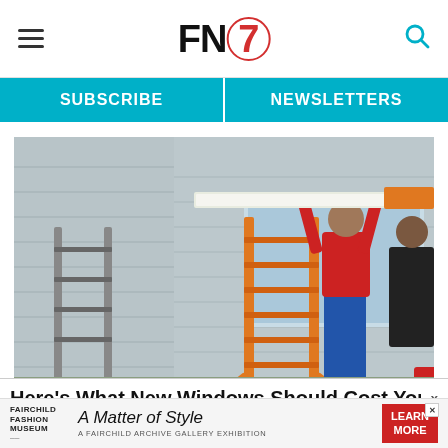FN7 logo with hamburger menu and search icon
SUBSCRIBE | NEWSLETTERS
[Figure (photo): Workers installing a window on a house exterior. A person in a red shirt stands on a ladder against gray siding, pushing a large window frame into place. An orange ladder is in the foreground. Other workers assist from below and the side.]
Here's What New Windows Should Cost You
[Figure (other): Fairchild Fashion Museum advertisement: 'A Matter of Style - A Fairchild Archive Gallery Exhibition' with a Learn More button]